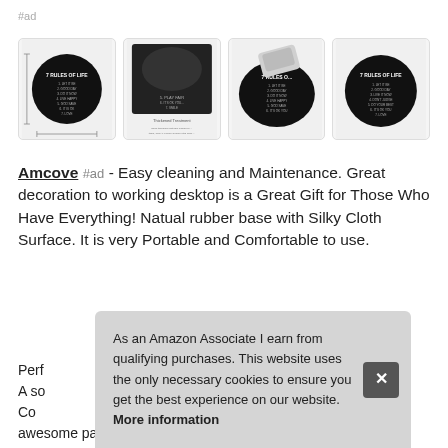#ad
[Figure (photo): Four product thumbnail images of a circular mouse pad with '7 Rules of Life' text on dark background, showing different angles and a close-up of the thickened rubber base.]
Amcove #ad - Easy cleaning and Maintenance. Great decoration to working desktop is a Great Gift for Those Who Have Everything! Natual rubber base with Silky Cloth Surface. It is very Portable and Comfortable to use.
More information #ad
Perf... A so... Co... awesome patterns, vibrant colors, Best Gift idea.
As an Amazon Associate I earn from qualifying purchases. This website uses the only necessary cookies to ensure you get the best experience on our website. More information